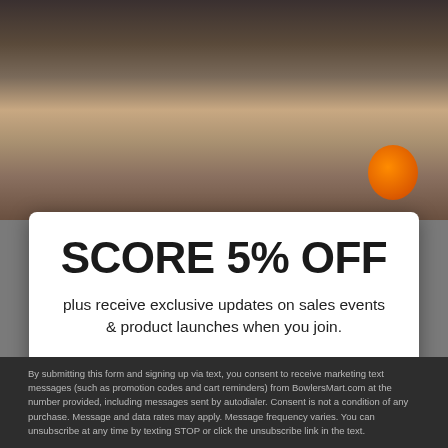[Figure (photo): People bowling at a bowling alley, shown mid-throw with an orange bowling ball visible on the right side of the lane.]
SCORE 5% OFF
plus receive exclusive updates on sales events & product launches when you join.
Tap to Text 💬
No thanks
By submitting this form and signing up via text, you consent to receive marketing text messages (such as promotion codes and cart reminders) from BowlersMart.com at the number provided, including messages sent by autodialer. Consent is not a condition of any purchase. Message and data rates may apply. Message frequency varies. You can unsubscribe at any time by texting STOP or click the unsubscribe link in the text.